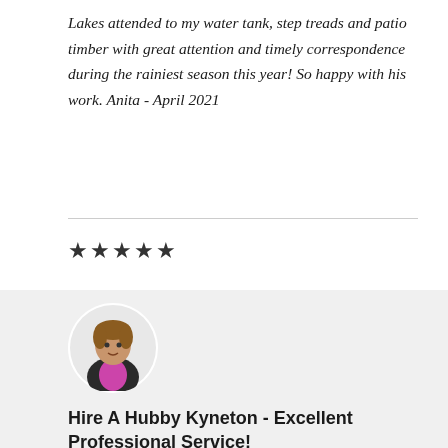Lakes attended to my water tank, step treads and patio timber with great attention and timely correspondence during the rainiest season this year! So happy with his work. Anita - April 2021
[Figure (other): Five filled star icons representing a 5-star rating]
[Figure (photo): Circular avatar photo of a person wearing a dark jacket with a pink/magenta vest or shirt, shown from shoulders up]
Hire A Hubby Kyneton - Excellent Professional Service!
No job was too small or difficult. I